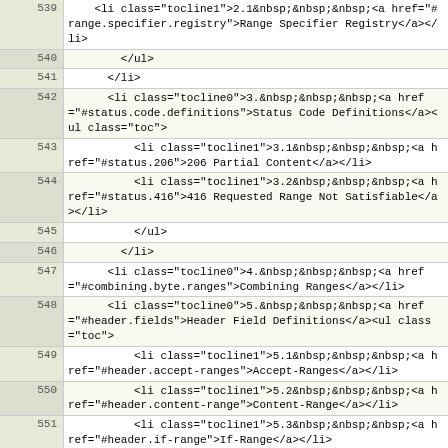| line | code |
| --- | --- |
| 539 |     <li class="tocline1">2.1&nbsp;&nbsp;&nbsp;<a href="#range.specifier.registry">Range Specifier Registry</a></li> |
| 540 |         </ul> |
| 541 |       </li> |
| 542 |       <li class="tocline0">3.&nbsp;&nbsp;&nbsp;<a href="#status.code.definitions">Status Code Definitions</a><ul class="toc"> |
| 543 |           <li class="tocline1">3.1&nbsp;&nbsp;&nbsp;<a href="#status.206">206 Partial Content</a></li> |
| 544 |           <li class="tocline1">3.2&nbsp;&nbsp;&nbsp;<a href="#status.416">416 Requested Range Not Satisfiable</a></li> |
| 545 |           </ul> |
| 546 |         </li> |
| 547 |       <li class="tocline0">4.&nbsp;&nbsp;&nbsp;<a href="#combining.byte.ranges">Combining Ranges</a></li> |
| 548 |       <li class="tocline0">5.&nbsp;&nbsp;&nbsp;<a href="#header.fields">Header Field Definitions</a><ul class="toc"> |
| 549 |           <li class="tocline1">5.1&nbsp;&nbsp;&nbsp;<a href="#header.accept-ranges">Accept-Ranges</a></li> |
| 550 |           <li class="tocline1">5.2&nbsp;&nbsp;&nbsp;<a href="#header.content-range">Content-Range</a></li> |
| 551 |           <li class="tocline1">5.3&nbsp;&nbsp;&nbsp;<a href="#header.if-range">If-Range</a></li> |
| 552 |           <li class="tocline1">5.4&nbsp;&nbsp;&nbsp;<a href="#header.range">Range</a><ul class="toc"> |
| 553 |               <li |